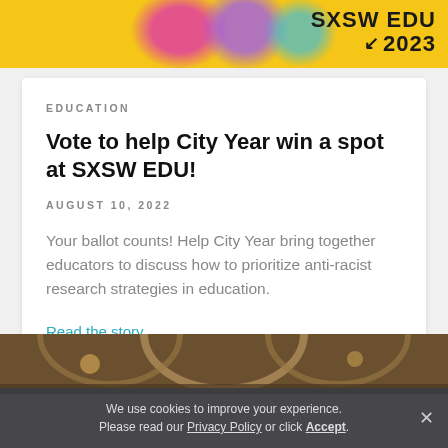[Figure (screenshot): SXSW EDU 2023 banner with colorful blobs on yellow background and logo in top right]
EDUCATION
Vote to help City Year win a spot at SXSW EDU!
AUGUST 10, 2022
Your ballot counts! Help City Year bring together educators to discuss how to prioritize anti-racist research strategies in education.
Read the story
[Figure (photo): Bottom portion of a building interior with arched architectural details]
We use cookies to improve your experience. Please read our Privacy Policy or click Accept.